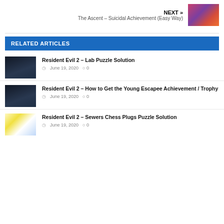NEXT »
The Ascent – Suicidal Achievement (Easy Way)
[Figure (photo): Thumbnail image with colorful abstract/game art in orange, red, purple tones]
RELATED ARTICLES
[Figure (photo): Dark game screenshot from Resident Evil 2, dimly lit corridor]
Resident Evil 2 – Lab Puzzle Solution
June 19, 2020   0
[Figure (photo): Dark game screenshot from Resident Evil 2, aerial/top-down dark scene]
Resident Evil 2 – How to Get the Young Escapee Achievement / Trophy
June 19, 2020   0
[Figure (photo): Game screenshot from Resident Evil 2 with bright light flash]
Resident Evil 2 – Sewers Chess Plugs Puzzle Solution
June 19, 2020   0